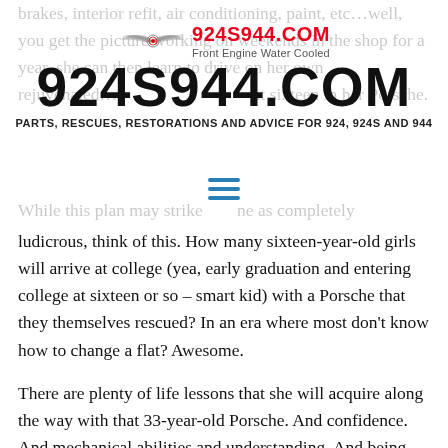brakes, interior refit, air conditioning, paint, etc…well, you get the picture working on weekends in the shop for a year, she can then learn to drive on her own rejuvenated… at sixteen in her Porsche.
924S944.COM — Front Engine Water Cooled — PARTS, RESCUES, RESTORATIONS AND ADVICE FOR 924, 924S AND 944
While this plan may strike one as completely ludicrous, think of this.  How many sixteen-year-old girls will arrive at college (yea, early graduation and entering college at sixteen or so – smart kid) with a Porsche that they themselves rescued?  In an era where most don't know how to change a flat?  Awesome.
There are plenty of life lessons that she will acquire along the way with that 33-year-old Porsche.  And confidence.  And mechanical abilities and understanding.  And being able to work with tools.  And